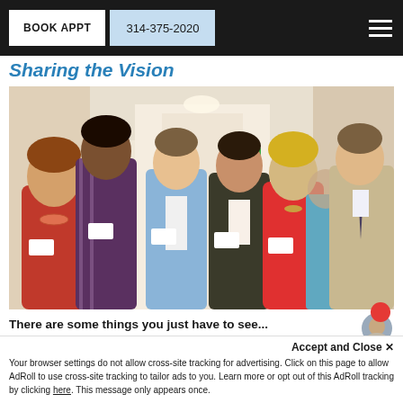BOOK APPT   314-375-2020
Sharing the Vision
[Figure (photo): Group photo of six professionals (five men and one woman in red) standing together indoors in a hallway, smiling at the camera. All wearing business casual attire with name tags.]
There are some things you just have to see...
Accept and Close ×
Your browser settings do not allow cross-site tracking for advertising. Click on this page to allow AdRoll to use cross-site tracking to tailor ads to you. Learn more or opt out of this AdRoll tracking by clicking here. This message only appears once.